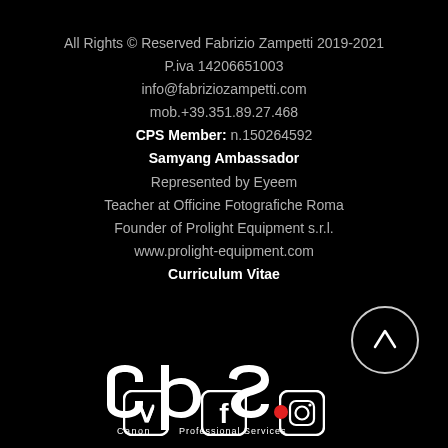All Rights © Reserved Fabrizio Zampetti 2019-2021
P.iva 14206651003
info@fabriziozampetti.com
mob.+39.351.89.27.468
CPS Member: n.150264592
Samyang Ambassador
Represented by Eyeem
Teacher at Officine Fotografiche Roma
Founder of Prolight Equipment s.r.l.
www.prolight-equipment.com
Curriculum Vitae
[Figure (logo): Social media icons: Vimeo, Facebook, Instagram]
[Figure (illustration): Scroll-to-top button: circle with upward arrow]
[Figure (logo): Canon Professional Services (CPS) logo in white with red dot]